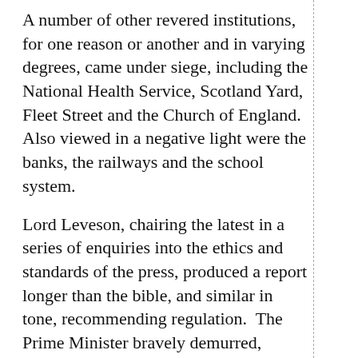A number of other revered institutions, for one reason or another and in varying degrees, came under siege, including the National Health Service, Scotland Yard, Fleet Street and the Church of England.  Also viewed in a negative light were the banks, the railways and the school system.
Lord Leveson, chairing the latest in a series of enquiries into the ethics and standards of the press, produced a report longer than the bible, and similar in tone, recommending regulation.  The Prime Minister bravely demurred, calling for an alternative of self policing. Fleet Street’s finest heaved a collective sigh of relief, promising to come up with something workable – much to the fury of Hugh Grant, leading a lobby group of hacked ‘victims’.
As if the government didn’t have its hands